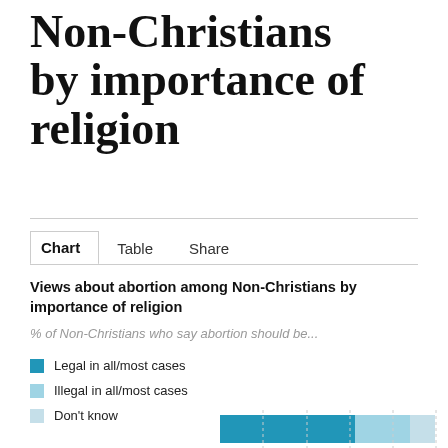Non-Christians by importance of religion
Chart | Table | Share
Views about abortion among Non-Christians by importance of religion
% of Non-Christians who say abortion should be...
Legal in all/most cases
Illegal in all/most cases
Don't know
[Figure (stacked-bar-chart): Partial stacked bar chart showing views about abortion among Non-Christians by importance of religion, partially visible at bottom of page]